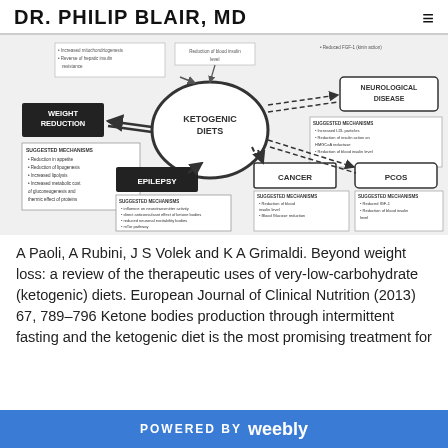DR. PHILIP BLAIR, MD
[Figure (flowchart): Diagram showing ketogenic diets and their connections to: Weight Reduction, Epilepsy, Cancer, PCOS, and Neurological Disease, each with suggested mechanisms listed in boxes. Arrows (solid and dashed) connect the central 'Ketogenic Diets' ellipse to surrounding condition boxes.]
A Paoli, A Rubini, J S Volek and K A Grimaldi. Beyond weight loss: a review of the therapeutic uses of very-low-carbohydrate (ketogenic) diets. European Journal of Clinical Nutrition (2013) 67, 789–796 Ketone bodies production through intermittent fasting and the ketogenic diet is the most promising treatment for
POWERED BY weebly